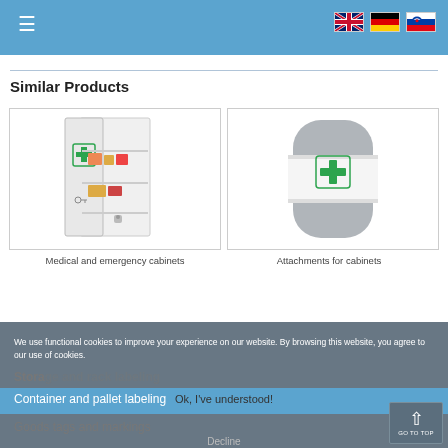≡ [Navigation menu with language flags: UK, Germany, Slovenia]
Similar Products
[Figure (photo): Open white medical/emergency cabinet with shelves containing medical supplies and first aid items, key visible]
Medical and emergency cabinets
[Figure (photo): Round grey first aid kit/cabinet with white band and green cross symbol]
Attachments for cabinets
We use functional cookies to improve your experience on our website. By browsing this website, you agree to our use of cookies.
Storage and rack labeling
Container and pallet labeling
Ok, I've understood!
Goods tags and markings
Decline